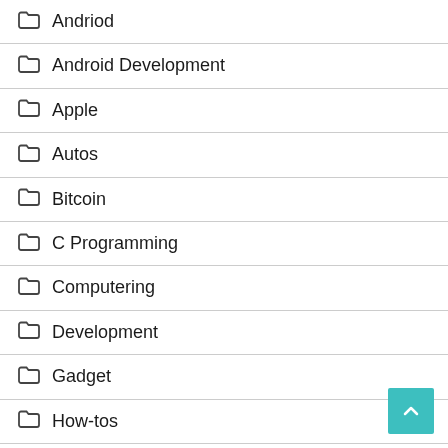Andriod
Android Development
Apple
Autos
Bitcoin
C Programming
Computering
Development
Gadget
How-tos
Java Programming